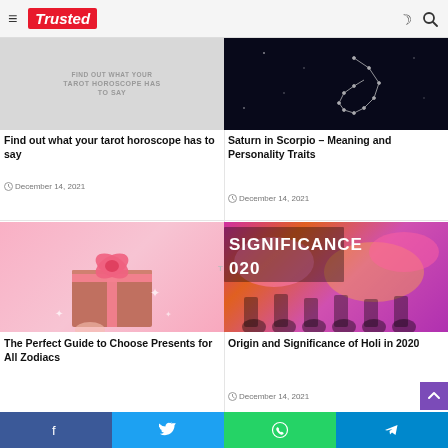Trusted
[Figure (screenshot): Screenshot of website header with hamburger menu, Trusted logo in red, and moon/search icons on right]
[Figure (photo): Tarot horoscope article card image showing text FIND OUT WHAT YOUR TAROT HOROSCOPE HAS TO SAY on grey background]
Find out what your tarot horoscope has to say
December 14, 2021
[Figure (photo): Dark image with Scorpio constellation line art on black background]
Saturn in Scorpio – Meaning and Personality Traits
December 14, 2021
[Figure (photo): Pink gift box with ribbon on pink background]
The Perfect Guide to Choose Presents for All Zodiacs
[Figure (photo): Colorful Holi celebration with crowd and pink/yellow powder, text overlay SIGNIFICANCE 020]
Origin and Significance of Holi in 2020
December 14, 2021
Facebook Twitter WhatsApp Telegram